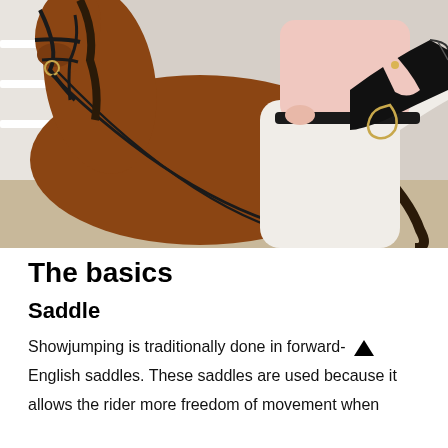[Figure (photo): A rider in white jodhpurs, pink shirt and tall black riding boots mounting or adjusting position on a chestnut horse with black bridle and reins. Sandy arena background visible.]
The basics
Saddle
Showjumping is traditionally done in forward-English saddles. These saddles are used because it allows the rider more freedom of movement when